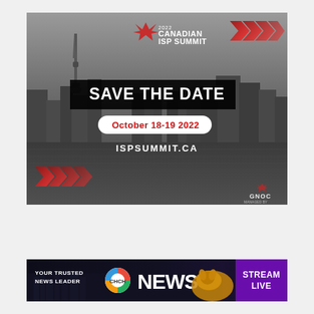[Figure (photo): 2022 Canadian ISP Summit Save the Date promotional image. Black and white photo of Toronto skyline with CN Tower and waterfront reflection. Red chevron arrows in top right and bottom left corners. Text overlay: '2022 Canadian ISP Summit', 'SAVE THE DATE', 'October 18-19 2022', 'ISPSUMMIT.CA'. GNOC logo in bottom right corner.]
[Figure (photo): CHCH News advertisement banner. Dark background with text 'YOUR TRUSTED NEWS LEADER', CHCH circular logo with colorful segments, large 'NEWS' text, golden retriever dog image, and 'STREAM LIVE' text in purple section.]